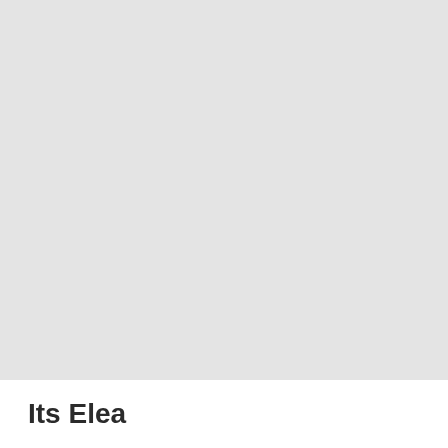[Figure (other): Large light gray rectangle occupying the upper portion of the page, likely a placeholder image area.]
Its Elea